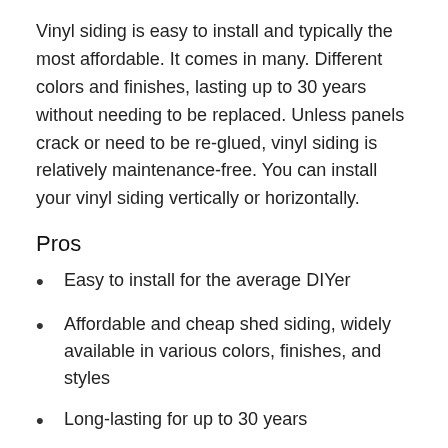Vinyl siding is easy to install and typically the most affordable. It comes in many. Different colors and finishes, lasting up to 30 years without needing to be replaced. Unless panels crack or need to be re-glued, vinyl siding is relatively maintenance-free. You can install your vinyl siding vertically or horizontally.
Pros
Easy to install for the average DIYer
Affordable and cheap shed siding, widely available in various colors, finishes, and styles
Long-lasting for up to 30 years
Cons